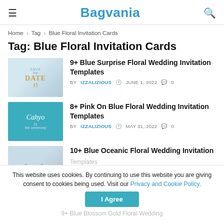Bagvania
Home › Tag › Blue Floral Invitation Cards
Tag: Blue Floral Invitation Cards
9+ Blue Surprise Floral Wedding Invitation Templates
BY IZZALIZIOUS  JUNE 1, 2022  0
8+ Pink On Blue Floral Wedding Invitation Templates
BY IZZALIZIOUS  MAY 31, 2022  0
10+ Blue Oceanic Floral Wedding Invitation Templates
This website uses cookies. By continuing to use this website you are giving consent to cookies being used. Visit our Privacy and Cookie Policy.
9+ Blue Blossom Gold Floral Wedding